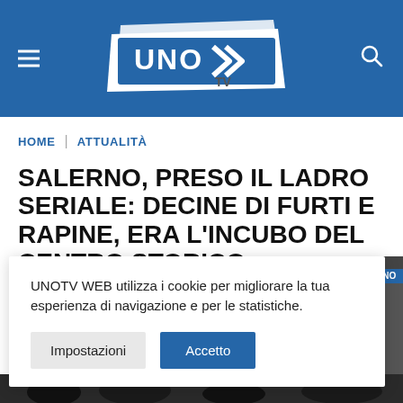[Figure (logo): UNO TV logo with double chevron arrows on blue background header bar]
HOME | ATTUALITÀ
SALERNO, PRESO IL LADRO SERIALE: DECINE DI FURTI E RAPINE, ERA L'INCUBO DEL CENTRO STORICO
UNOTV WEB utilizza i cookie per migliorare la tua esperienza di navigazione e per le statistiche.
[Figure (screenshot): CCTV footage partial view with timestamp 21 04 06 and UNO watermark, black and white security camera image]